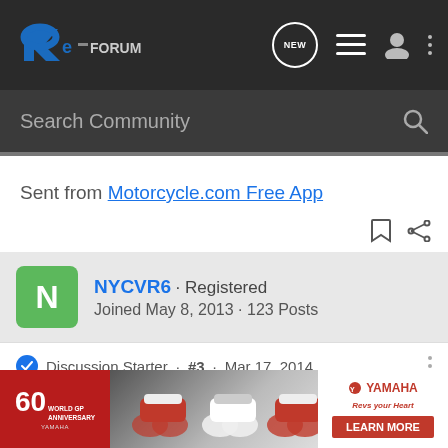Re-Forum logo, NEW chat, list, user, menu icons
Search Community
Sent from Motorcycle.com Free App
NYCVR6 · Registered
Joined May 8, 2013 · 123 Posts
Discussion Starter · #3 · Mar 17, 2014
dsgamermike said: Good chain and jets - Required! What are you running
[Figure (screenshot): Yamaha World GP 60th Anniversary advertisement banner with motorcycles]